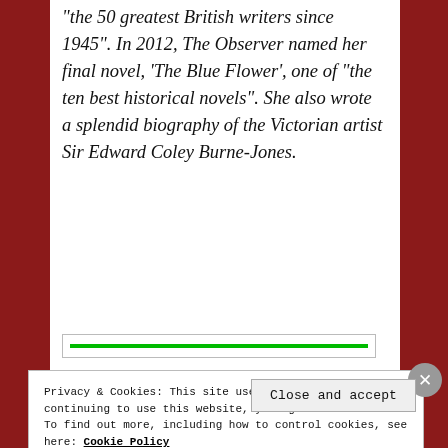“the 50 greatest British writers since 1945”. In 2012, The Observer named her final novel, ‘The Blue Flower’, one of “the ten best historical novels”.  She also wrote a splendid biography of the Victorian artist Sir Edward Coley Burne-Jones.
[Figure (other): A horizontal progress/loading bar element with a green filled bar inside a light-bordered rectangle.]
Privacy & Cookies: This site uses cookies. By continuing to use this website, you agree to their use.
To find out more, including how to control cookies, see here: Cookie Policy
Close and accept